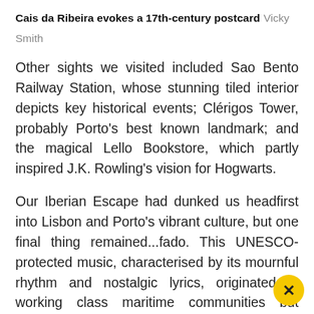Cais da Ribeira evokes a 17th-century postcard Vicky Smith
Other sights we visited included Sao Bento Railway Station, whose stunning tiled interior depicts key historical events; Clérigos Tower, probably Porto's best known landmark; and the magical Lello Bookstore, which partly inspired J.K. Rowling's vision for Hogwarts.
Our Iberian Escape had dunked us headfirst into Lisbon and Porto's vibrant culture, but one final thing remained...fado. This UNESCO-protected music, characterised by its mournful rhythm and nostalgic lyrics, originated in working class maritime communities but nowadays is integral to Portuguese heritage.
Casa Mariquinhas restaurant is renowned for its f